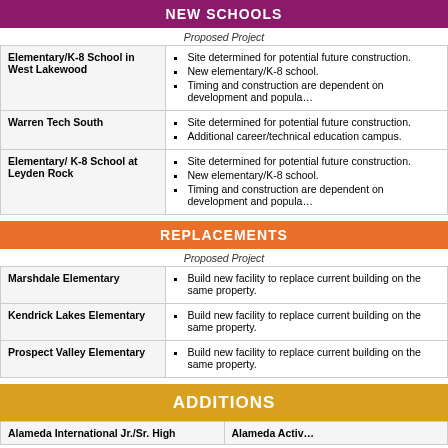NEW SCHOOLS
Proposed Project
| School | Proposed Project |
| --- | --- |
| Elementary/K-8 School in West Lakewood | Site determined for potential future construction.
New elementary/K-8 school.
Timing and construction are dependent on development and popula… |
| Warren Tech South | Site determined for potential future construction.
Additional career/technical education campus. |
| Elementary/ K-8 School at Leyden Rock | Site determined for potential future construction.
New elementary/K-8 school.
Timing and construction are dependent on development and popula… |
REPLACEMENTS
Proposed Project
| School | Proposed Project |
| --- | --- |
| Marshdale Elementary | Build new facility to replace current building on the same property. |
| Kendrick Lakes Elementary | Build new facility to replace current building on the same property. |
| Prospect Valley Elementary | Build new facility to replace current building on the same property. |
ADDITIONS
| Alameda International Jr./Sr. High | Alameda Activ… |
| --- | --- |